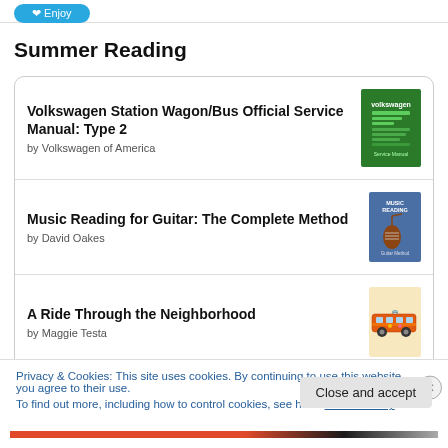Summer Reading
Volkswagen Station Wagon/Bus Official Service Manual: Type 2 by Volkswagen of America
Music Reading for Guitar: The Complete Method by David Oakes
A Ride Through the Neighborhood by Maggie Testa
Privacy & Cookies: This site uses cookies. By continuing to use this website, you agree to their use. To find out more, including how to control cookies, see here: Cookie Policy
Close and accept